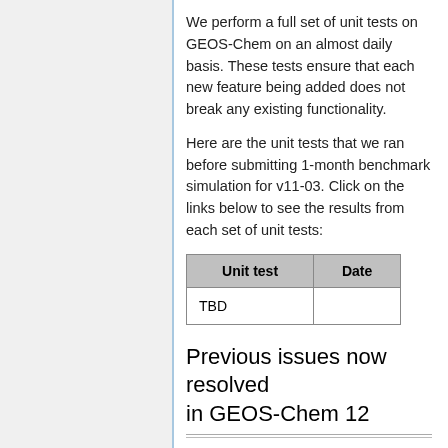We perform a full set of unit tests on GEOS-Chem on an almost daily basis. These tests ensure that each new feature being added does not break any existing functionality.
Here are the unit tests that we ran before submitting 1-month benchmark simulation for v11-03. Click on the links below to see the results from each set of unit tests:
| Unit test | Date |
| --- | --- |
| TBD |  |
Previous issues now resolved in GEOS-Chem 12
The following bugs and/or technical issues have been resolved in v11-03.